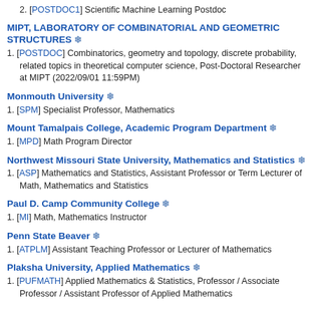2. [POSTDOC1] Scientific Machine Learning Postdoc
MIPT, LABORATORY OF COMBINATORIAL AND GEOMETRIC STRUCTURES ❄
1. [POSTDOC] Combinatorics, geometry and topology, discrete probability, related topics in theoretical computer science, Post-Doctoral Researcher at MIPT (2022/09/01 11:59PM)
Monmouth University ❄
1. [SPM] Specialist Professor, Mathematics
Mount Tamalpais College, Academic Program Department ❄
1. [MPD] Math Program Director
Northwest Missouri State University, Mathematics and Statistics ❄
1. [ASP] Mathematics and Statistics, Assistant Professor or Term Lecturer of Math, Mathematics and Statistics
Paul D. Camp Community College ❄
1. [MI] Math, Mathematics Instructor
Penn State Beaver ❄
1. [ATPLM] Assistant Teaching Professor or Lecturer of Mathematics
Plaksha University, Applied Mathematics ❄
1. [PUFMATH] Applied Mathematics & Statistics, Professor / Associate Professor / Assistant Professor of Applied Mathematics